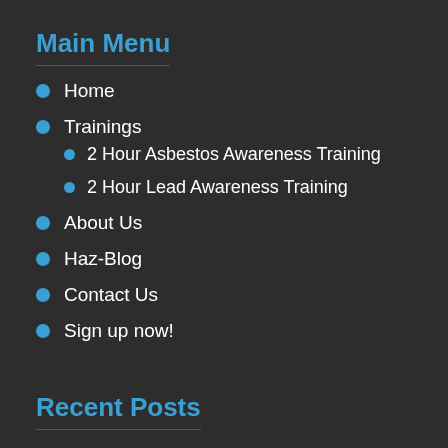Main Menu
Home
Trainings
2 Hour Asbestos Awareness Training
2 Hour Lead Awareness Training
About Us
Haz-Blog
Contact Us
Sign up now!
Recent Posts
The Best Online Lead Awareness Training on the Market
Commonly Used Materials That Contain Asbestos